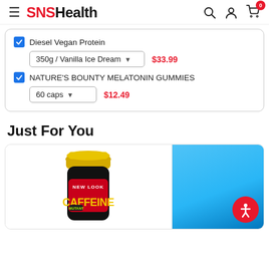SNSHealth
Diesel Vegan Protein – 350g / Vanilla Ice Dream – $33.99
NATURE'S BOUNTY MELATONIN GUMMIES – 60 caps – $12.49
Just For You
[Figure (photo): Mutant Caffeine supplement bottle with gold cap, black body, red label reading NEW LOOK CAFFEINE]
[Figure (photo): Partial view of a blue can product]